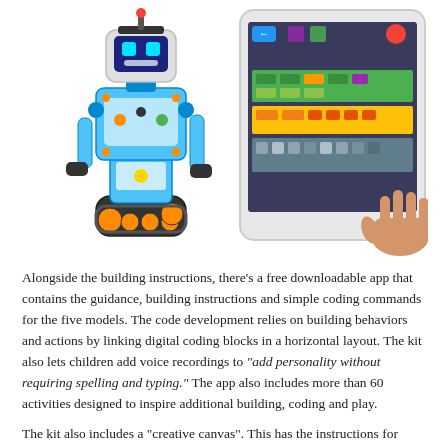[Figure (photo): Photo of a LEGO Boost robot (blue and white humanoid robot on tank treads) alongside a tablet displaying a colorful block-coding app interface, held by a hand.]
Alongside the building instructions, there's a free downloadable app that contains the guidance, building instructions and simple coding commands for the five models. The code development relies on building behaviors and actions by linking digital coding blocks in a horizontal layout. The kit also lets children add voice recordings to "add personality without requiring spelling and typing." The app also includes more than 60 activities designed to inspire additional building, coding and play.
The kit also includes a “creative canvas”. This has the instructions for three basic models that can then be customized. The three base models are a walking base that can then be used to make animals like a dog or a pony, a driving base for building vehicles; and an